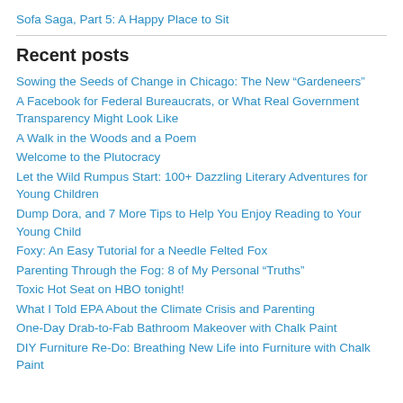Sofa Saga, Part 5: A Happy Place to Sit
Recent posts
Sowing the Seeds of Change in Chicago: The New “Gardeneers”
A Facebook for Federal Bureaucrats, or What Real Government Transparency Might Look Like
A Walk in the Woods and a Poem
Welcome to the Plutocracy
Let the Wild Rumpus Start: 100+ Dazzling Literary Adventures for Young Children
Dump Dora, and 7 More Tips to Help You Enjoy Reading to Your Young Child
Foxy: An Easy Tutorial for a Needle Felted Fox
Parenting Through the Fog: 8 of My Personal “Truths”
Toxic Hot Seat on HBO tonight!
What I Told EPA About the Climate Crisis and Parenting
One-Day Drab-to-Fab Bathroom Makeover with Chalk Paint
DIY Furniture Re-Do: Breathing New Life into Furniture with Chalk Paint